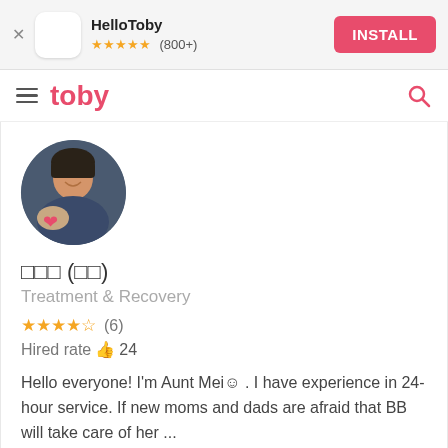[Figure (screenshot): App install banner for HelloToby with star rating (800+) and INSTALL button]
toby
[Figure (photo): Circular profile photo of a woman smiling, holding a baby with a red heart emoji overlay]
□□□ (□□)
Treatment & Recovery
★★★★☆  (6)
Hired rate 👍 24
Hello everyone! I'm Aunt Mei☺ . I have experience in 24-hour service. If new moms and dads are afraid that BB will take care of her ...